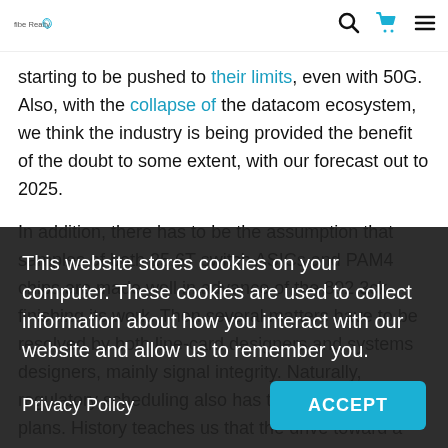fibeRealty [logo] [search icon] [cart icon] [menu icon]
starting to be pushed to their limits, even with 50G. Also, with the collapse of the datacom ecosystem, we think the industry is being provided the benefit of the doubt to some extent, with our forecast out to 2025.
In addition, there has to be the assumption that samples of both 25.6T switch ASICs and PAM4 chips are made well in advance of the 802.3ck finishing its work. Then several matters have to be resolved by both line-card designers and systems designers, mainly signal integrity. Naturally, regulatory scheduling also has to align with any plans. History teaches us that the drive toward a standard should not be confused with the actual scheduling of market implementation.
This website stores cookies on your computer. These cookies are used to collect information about how you interact with our website and allow us to remember you.
Privacy Policy
ACCEPT